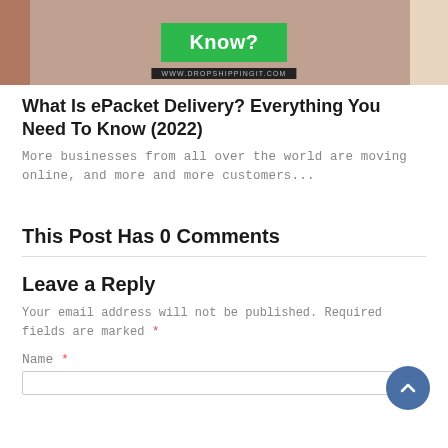[Figure (photo): A photo/banner image showing shipping containers in the background with a green button overlay reading 'Know?' and a dark bar at the bottom showing 'WWW.DROPSHIPPINGIT.COM']
What Is ePacket Delivery? Everything You Need To Know (2022)
More businesses from all over the world are moving online, and more and more customers...
This Post Has 0 Comments
Leave a Reply
Your email address will not be published. Required fields are marked *
Name *